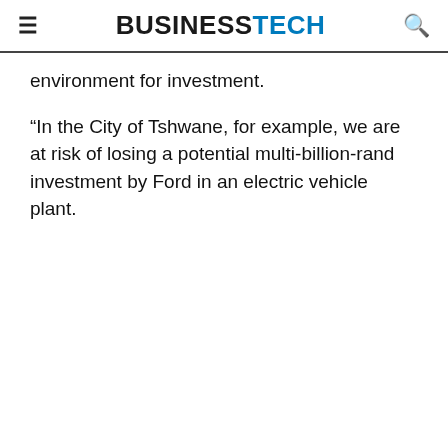BUSINESSTECH
environment for investment.
“In the City of Tshwane, for example, we are at risk of losing a potential multi-billion-rand investment by Ford in an electric vehicle plant.